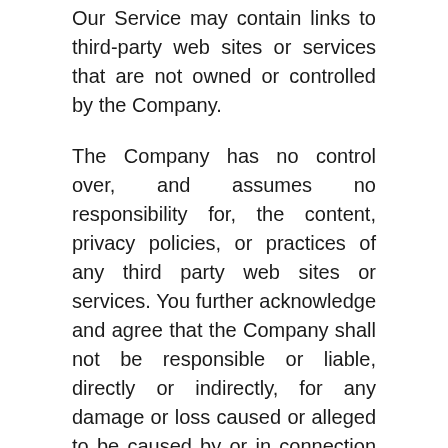Our Service may contain links to third-party web sites or services that are not owned or controlled by the Company.
The Company has no control over, and assumes no responsibility for, the content, privacy policies, or practices of any third party web sites or services. You further acknowledge and agree that the Company shall not be responsible or liable, directly or indirectly, for any damage or loss caused or alleged to be caused by or in connection with the use of or reliance on any such content, goods or services available on or through any such web sites or services.
We strongly advise You to read the terms and conditions and privacy policies of any third-party web sites or services that You visit.